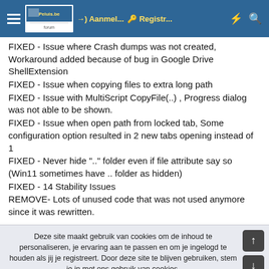Peluis.be forum — Aanmel... — Registr...
FIXED - Issue where Crash dumps was not created, Workaround added because of bug in Google Drive ShellExtension
FIXED - Issue when copying files to extra long path
FIXED - Issue with MultiScript CopyFile(..) , Progress dialog was not able to be shown.
FIXED - Issue when open path from locked tab, Some configuration option resulted in 2 new tabs opening instead of 1
FIXED - Never hide ".." folder even if file attribute say so (Win11 sometimes have .. folder as hidden)
FIXED - 14 Stability Issues
REMOVE- Lots of unused code that was not used anymore since it was rewritten.
Deze site maakt gebruik van cookies om de inhoud te personaliseren, je ervaring aan te passen en om je ingelogd te houden als jij je registreert. Door deze site te blijven gebruiken, stem je in met ons gebruik van cookies.